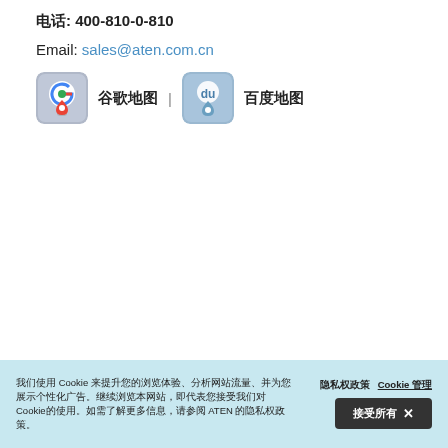电话: 400-810-0-810
Email: sales@aten.com.cn
[Figure (other): Google Maps icon followed by Chinese text label, separator bar, Baidu Maps icon followed by Chinese text label]
我们使用 Cookie 来提升您的浏览体验、分析网站流量、并为您展示个性化广告。继续浏览本网站，即代表您接受我们对Cookie的使用。如需了解更多信息，请参阅 ATEN 的隐私权政策。 隐私权政策  Cookie 管理  接受所有